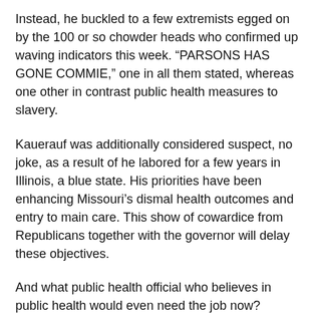Instead, he buckled to a few extremists egged on by the 100 or so chowder heads who confirmed up waving indicators this week. “PARSONS HAS GONE COMMIE,” one in all them stated, whereas one other in contrast public health measures to slavery.
Kauerauf was additionally considered suspect, no joke, as a result of he labored for a few years in Illinois, a blue state. His priorities have been enhancing Missouri’s dismal health outcomes and entry to main care. This show of cowardice from Republicans together with the governor will delay these objectives.
And what public health official who believes in public health would even need the job now?
Parson’s tweeted Monday defense of his nominee was virtually as far-gone as the criticism. He backed Kauerauf...